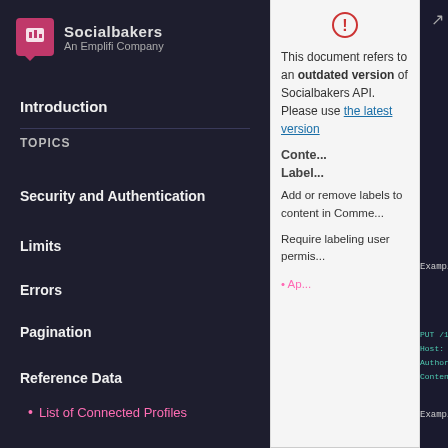[Figure (screenshot): Socialbakers (An Emplifi Company) logo in sidebar]
Introduction
TOPICS
Security and Authentication
Limits
Errors
Pagination
Reference Data
List of Connected Profiles
This document refers to an outdated version of Socialbakers API. Please use the latest version
Content Labels
Add or remove labels to content in Comme...
Require labeling user permis...
Example reques...
PUT /1/con...
Host: api.
Authoriza...
Content-Ty...
{
  "content"
  // Fac
  "75438"
  // Fac
  "84971"
],
"labels"
}
Example respor...